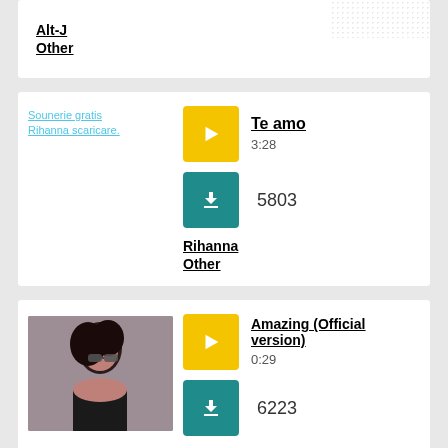Alt-J
Other
[Figure (screenshot): Sounerie gratis Rihanna scaricare thumbnail placeholder]
Te amo
3:28
5803
Rihanna
Other
[Figure (photo): Photo of a woman with dark hair and sunglasses]
Amazing (Official version)
0:29
6223